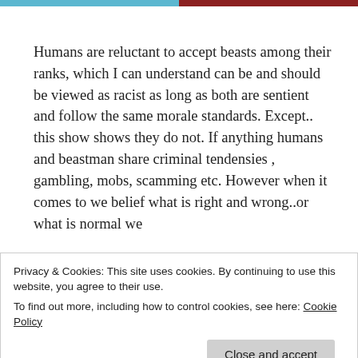[Figure (photo): Colored banner strip at top of page, split blue on left and dark red on right]
Humans are reluctant to accept beasts among their ranks, which I can understand can be and should be viewed as racist as long as both are sentient and follow the same morale standards. Except.. this show shows they do not. If anything humans and beastman share criminal tendensies , gambling, mobs, scamming etc. However when it comes to we belief what is right and wrong..or what is normal we
Privacy & Cookies: This site uses cookies. By continuing to use this website, you agree to their use.
To find out more, including how to control cookies, see here: Cookie Policy
that upgrades some of their strengths I can see why